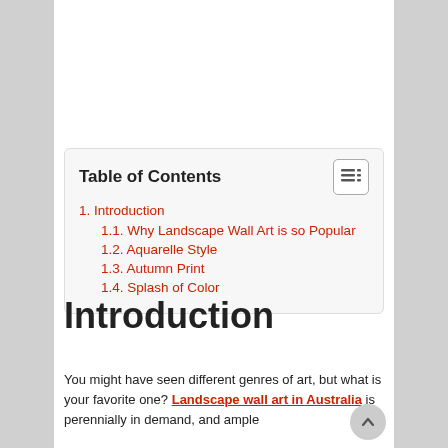| 1. Introduction |
| 1.1. Why Landscape Wall Art is so Popular |
| 1.2. Aquarelle Style |
| 1.3. Autumn Print |
| 1.4. Splash of Color |
Introduction
You might have seen different genres of art, but what is your favorite one? Landscape wall art in Australia is perennially in demand, and ample